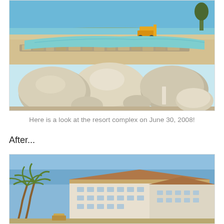[Figure (photo): Construction site photo showing large white limestone rocks in the foreground, a shallow turquoise lagoon or pool bordered by a stone wall in the middle ground, sandy excavated terrain, construction equipment (yellow loader/bulldozer) visible in the background, blue sky, and distant hills across water. Taken on June 30, 2008 at a resort complex under construction.]
Here is a look at the resort complex on June 30, 2008!
After...
[Figure (photo): Photo of a completed resort complex showing a large multi-story hotel building with terracotta roof tiles, white/cream facade with balconies, palm trees in the foreground on the left, blue sky background. The resort appears fully constructed and operational.]